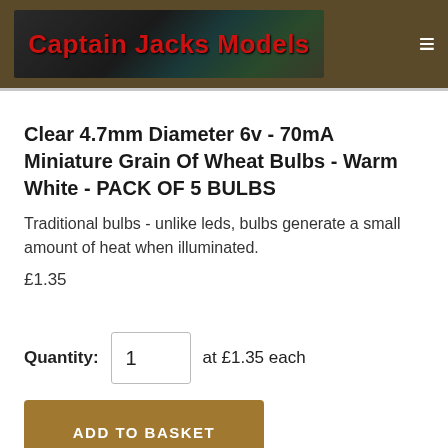Captain Jacks Models
Clear 4.7mm Diameter 6v - 70mA Miniature Grain Of Wheat Bulbs - Warm White - PACK OF 5 BULBS
Traditional bulbs - unlike leds, bulbs generate a small amount of heat when illuminated.
£1.35
Quantity: 1  at  £1.35  each
ADD TO BASKET